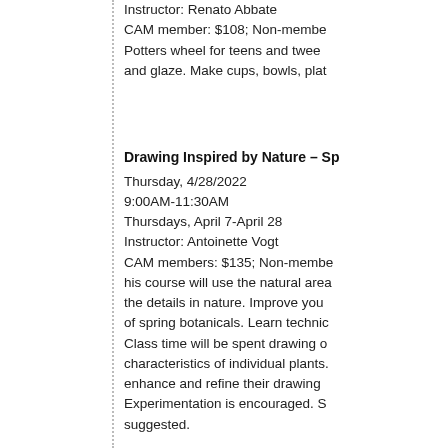Instructor: Renato Abbate
CAM member: $108; Non-member
Potters wheel for teens and twee
and glaze. Make cups, bowls, plat
Drawing Inspired by Nature - Sp
Thursday, 4/28/2022
9:00AM-11:30AM
Thursdays, April 7-April 28
Instructor: Antoinette Vogt
CAM members: $135; Non-membe
his course will use the natural area
the details in nature. Improve you
of spring botanicals. Learn technic
Class time will be spent drawing o
characteristics of individual plants.
enhance and refine their drawing
Experimentation is encouraged. S
suggested.